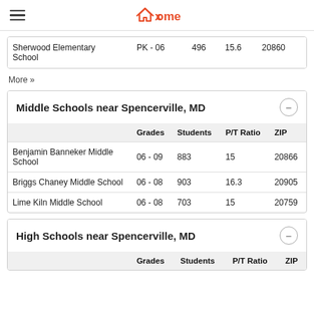xome
|  | Grades | Students | P/T Ratio | ZIP |
| --- | --- | --- | --- | --- |
| Sherwood Elementary School | PK - 06 | 496 | 15.6 | 20860 |
More »
Middle Schools near Spencerville, MD
|  | Grades | Students | P/T Ratio | ZIP |
| --- | --- | --- | --- | --- |
| Benjamin Banneker Middle School | 06 - 09 | 883 | 15 | 20866 |
| Briggs Chaney Middle School | 06 - 08 | 903 | 16.3 | 20905 |
| Lime Kiln Middle School | 06 - 08 | 703 | 15 | 20759 |
High Schools near Spencerville, MD
|  | Grades | Students | P/T Ratio | ZIP |
| --- | --- | --- | --- | --- |